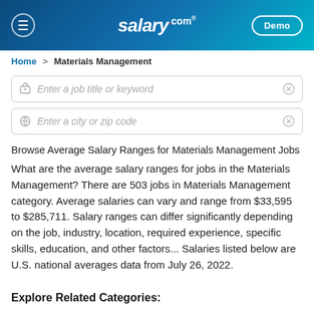salary.com — Demo
Home > Materials Management
Enter a job title or keyword
Enter a city or zip code
Browse Average Salary Ranges for Materials Management Jobs
What are the average salary ranges for jobs in the Materials Management? There are 503 jobs in Materials Management category. Average salaries can vary and range from $33,595 to $285,711. Salary ranges can differ significantly depending on the job, industry, location, required experience, specific skills, education, and other factors... Salaries listed below are U.S. national averages data from July 26, 2022.
Explore Related Categories: